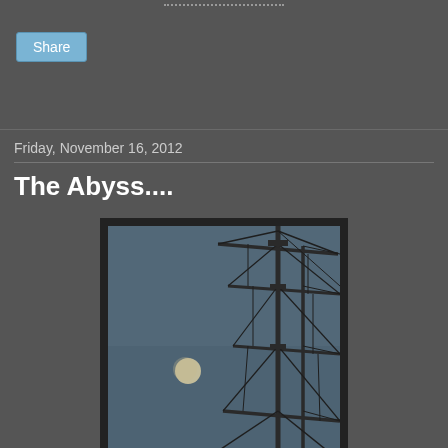Share
Friday, November 16, 2012
The Abyss....
[Figure (photo): Photograph of a tall ship's mast with rigging and ropes silhouetted against a twilight blue sky, with a moon visible to the left of the mast.]